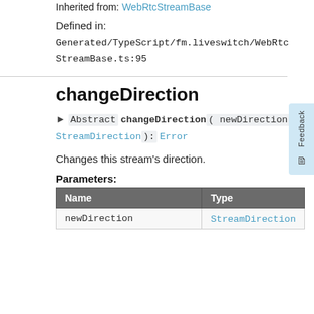Inherited from: WebRtcStreamBase
Defined in:
Generated/TypeScript/fm.liveswitch/WebRtcStreamBase.ts:95
changeDirection
► Abstract changeDirection( newDirection: StreamDirection): Error
Changes this stream's direction.
Parameters:
| Name | Type |
| --- | --- |
| newDirection | StreamDirection |